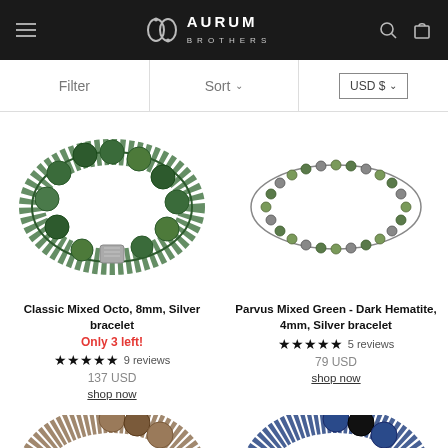Aurum Brothers - navigation header with hamburger menu, logo, search and cart icons
Filter | Sort | USD $
[Figure (photo): Green beaded bracelet - Classic Mixed Octo, 8mm, Silver bracelet with silver cube charm]
Classic Mixed Octo, 8mm, Silver bracelet
Only 3 left!
★★★★★ 9 reviews
137 USD
shop now
[Figure (photo): Parvus Mixed Green - Dark Hematite 4mm small beaded bracelet in green and dark tones]
Parvus Mixed Green - Dark Hematite, 4mm, Silver bracelet
★★★★★ 5 reviews
79 USD
shop now
[Figure (photo): Bottom partial image of brown/striped beaded bracelet]
[Figure (photo): Bottom partial image of blue/dark beaded bracelet]